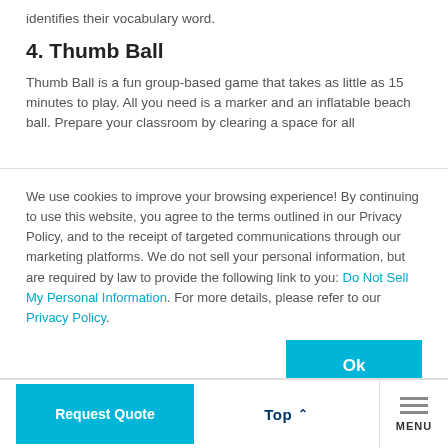identifies their vocabulary word.
4. Thumb Ball
Thumb Ball is a fun group-based game that takes as little as 15 minutes to play. All you need is a marker and an inflatable beach ball. Prepare your classroom by clearing a space for all
We use cookies to improve your browsing experience! By continuing to use this website, you agree to the terms outlined in our Privacy Policy, and to the receipt of targeted communications through our marketing platforms. We do not sell your personal information, but are required by law to provide the following link to you: Do Not Sell My Personal Information. For more details, please refer to our Privacy Policy.
Ok
Request Quote
Top
MENU